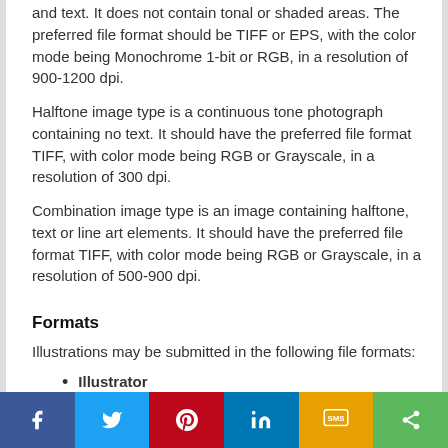and text. It does not contain tonal or shaded areas. The preferred file format should be TIFF or EPS, with the color mode being Monochrome 1-bit or RGB, in a resolution of 900-1200 dpi.
Halftone image type is a continuous tone photograph containing no text. It should have the preferred file format TIFF, with color mode being RGB or Grayscale, in a resolution of 300 dpi.
Combination image type is an image containing halftone, text or line art elements. It should have the preferred file format TIFF, with color mode being RGB or Grayscale, in a resolution of 500-900 dpi.
Formats
Illustrations may be submitted in the following file formats:
Illustrator
EPS (preferred format for diagrams)
PDF (also especially suitable for diagrams)
PNG (preferred format for photos or images)
Microsoft Word (version 5 and above; figures must be a single page)
PowerPoint (figures must be a single page)
TIFF